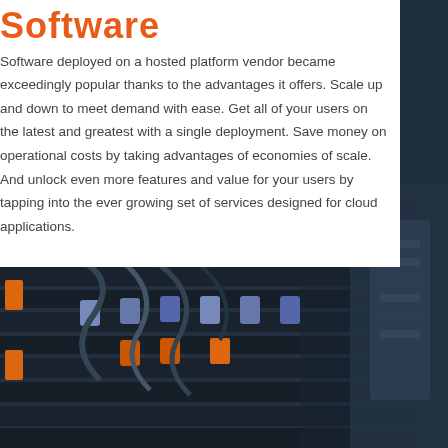Software
Software deployed on a hosted platform vendor became exceedingly popular thanks to the advantages it offers. Scale up and down to meet demand with ease. Get all of your users on the latest and greatest with a single deployment. Save money on operational costs by taking advantages of economies of scale. And unlock even more features and value for your users by tapping into the ever growing set of services designed for cloud applications.
[Figure (photo): Close-up photograph of server blade hardware in a data center rack, showing multiple blade servers with colorful pull tabs (blue, orange, green) and cables against a dark metallic chassis background.]